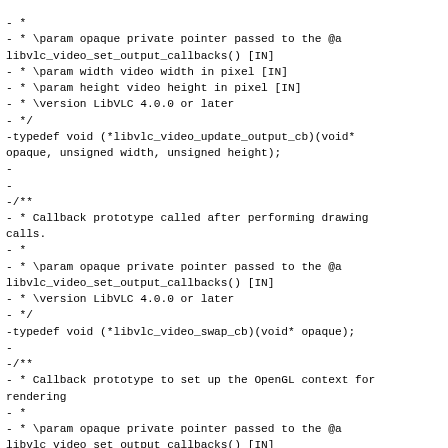- *
- * \param opaque private pointer passed to the @a libvlc_video_set_output_callbacks() [IN]
- * \param width video width in pixel [IN]
- * \param height video height in pixel [IN]
- * \version LibVLC 4.0.0 or later
- */
-typedef void (*libvlc_video_update_output_cb)(void* opaque, unsigned width, unsigned height);
-
-
-/**
- * Callback prototype called after performing drawing calls.
- *
- * \param opaque private pointer passed to the @a libvlc_video_set_output_callbacks() [IN]
- * \version LibVLC 4.0.0 or later
- */
-typedef void (*libvlc_video_swap_cb)(void* opaque);
-
-/**
- * Callback prototype to set up the OpenGL context for rendering
- *
- * \param opaque private pointer passed to the @a libvlc_video_set_output_callbacks() [IN]
- * \param enter true to set the context as current, false to unset it [IN]
- * \return true on success